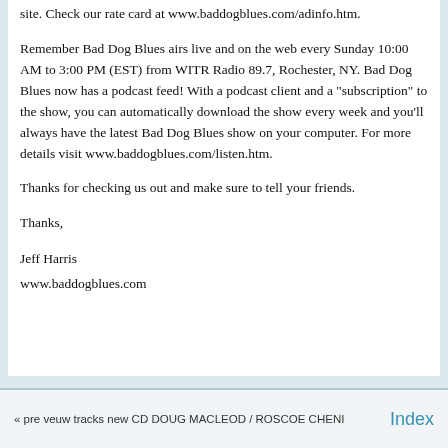site. Check our rate card at www.baddogblues.com/adinfo.htm.
Remember Bad Dog Blues airs live and on the web every Sunday 10:00 AM to 3:00 PM (EST) from WITR Radio 89.7, Rochester, NY. Bad Dog Blues now has a podcast feed! With a podcast client and a "subscription" to the show, you can automatically download the show every week and you'll always have the latest Bad Dog Blues show on your computer. For more details visit www.baddogblues.com/listen.htm.
Thanks for checking us out and make sure to tell your friends.
Thanks,
Jeff Harris
www.baddogblues.com
« pre veuw tracks new CD DOUG MACLEOD / ROSCOE CHENI    Index